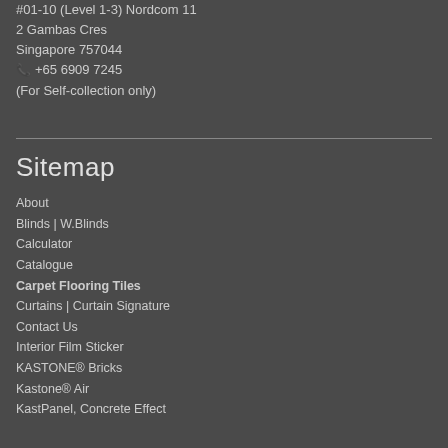#01-10 (Level 1-3) Nordcom 11
2 Gambas Cres
Singapore 757044
📞 +65 6909 7245
(For Self-collection only)
Sitemap
About
Blinds | W.Blinds
Calculator
Catalogue
Carpet Flooring Tiles
Curtains | Curtain Signature
Contact Us
Interior Film Sticker
KASTONE® Bricks
Kastone® Air
KastPanel, Concrete Effect